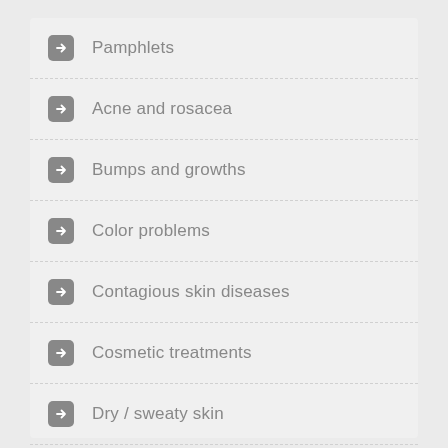Pamphlets
Acne and rosacea
Bumps and growths
Color problems
Contagious skin diseases
Cosmetic treatments
Dry / sweaty skin
Eczema / dermatitis